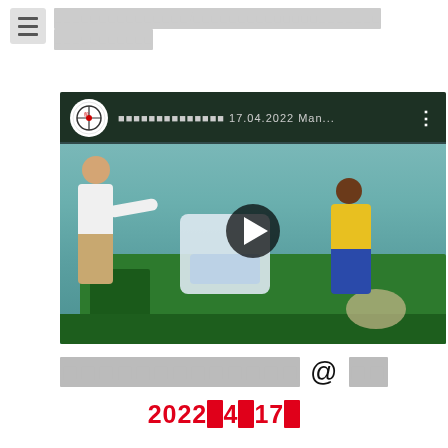[redacted text] / [redacted text]
[redacted text]
[Figure (screenshot): YouTube video thumbnail showing two people on a green boat on water, one in white shirt and one in yellow jacket loading bags. Video title shows redacted text followed by 17.04.2022 Man... with a channel logo (compass/ship wheel icon) and three-dot menu. A play button overlay is visible in the center.]
[redacted] @ [redacted]
2022年4月17日